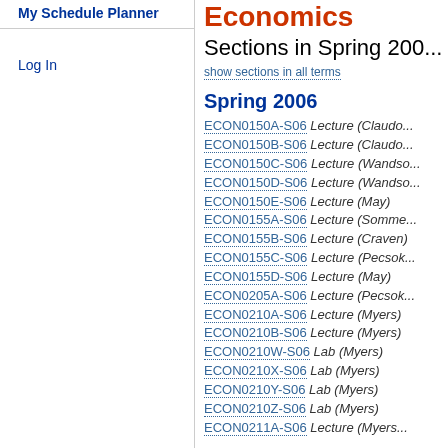My Schedule Planner
Log In
Economics
Sections in Spring 200...
show sections in all terms
Spring 2006
ECON0150A-S06 Lecture (Claudo...
ECON0150B-S06 Lecture (Claudo...
ECON0150C-S06 Lecture (Wandso...
ECON0150D-S06 Lecture (Wandso...
ECON0150E-S06 Lecture (May)
ECON0155A-S06 Lecture (Somme...
ECON0155B-S06 Lecture (Craven)
ECON0155C-S06 Lecture (Pecsok...
ECON0155D-S06 Lecture (May)
ECON0205A-S06 Lecture (Pecsok...
ECON0210A-S06 Lecture (Myers)
ECON0210B-S06 Lecture (Myers)
ECON0210W-S06 Lab (Myers)
ECON0210X-S06 Lab (Myers)
ECON0210Y-S06 Lab (Myers)
ECON0210Z-S06 Lab (Myers)
ECON0211A-S06 Lecture (Myers...